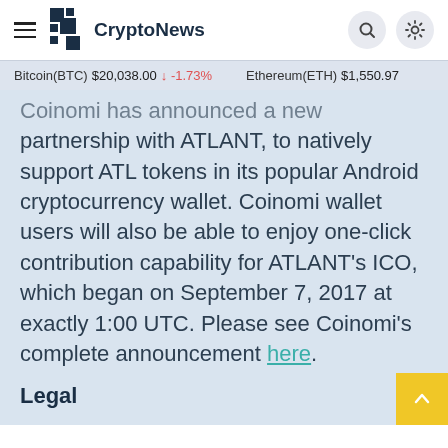CryptoNews
Bitcoin(BTC) $20,038.00 ↓ -1.73%   Ethereum(ETH) $1,550.97
...Coinomi has announced a new partnership with ATLANT, to natively support ATL tokens in its popular Android cryptocurrency wallet. Coinomi wallet users will also be able to enjoy one-click contribution capability for ATLANT's ICO, which began on September 7, 2017 at exactly 1:00 UTC. Please see Coinomi's complete announcement here.
Legal